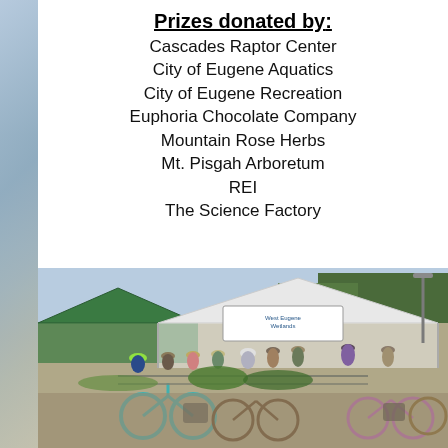Prizes donated by:
Cascades Raptor Center
City of Eugene Aquatics
City of Eugene Recreation
Euphoria Chocolate Company
Mountain Rose Herbs
Mt. Pisgah Arboretum
REI
The Science Factory
[Figure (photo): Outdoor cycling event at West Eugene Wetlands. A group of people in cycling gear gather under a white canopy tent with a West Eugene Wetlands banner. Bicycles are parked in the foreground. Green trees visible in background.]